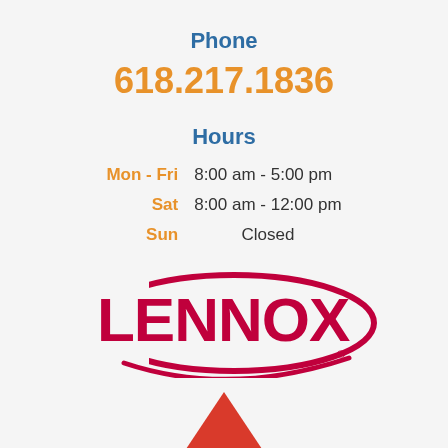Phone
618.217.1836
Hours
Mon - Fri  8:00 am - 5:00 pm
Sat  8:00 am - 12:00 pm
Sun  Closed
[Figure (logo): Lennox logo with red text and swoosh design]
[Figure (illustration): Red triangle shape partially visible at bottom]